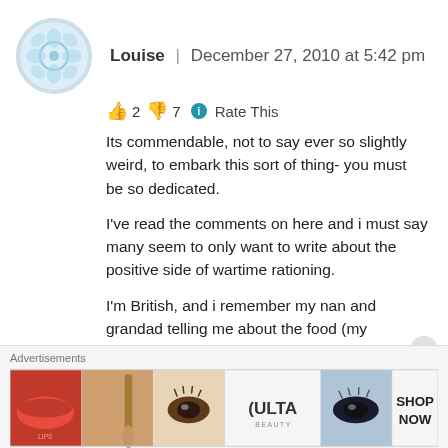Louise | December 27, 2010 at 5:42 pm
👍 2 👎 7 ℹ Rate This
Its commendable, not to say ever so slightly weird, to embark this sort of thing- you must be so dedicated.
I've read the comments on here and i must say many seem to only want to write about the positive side of wartime rationing.
I'm British, and i remember my nan and grandad telling me about the food (my grandfather had worked for the food company Crosses and Blackwell prior to the war and was a quartermaster (doling out the food) during his service time in Greece) rationing and they most certainly did not have all good things
Advertisements
[Figure (photo): ULTA beauty advertisement banner with makeup product imagery and 'SHOP NOW' text]